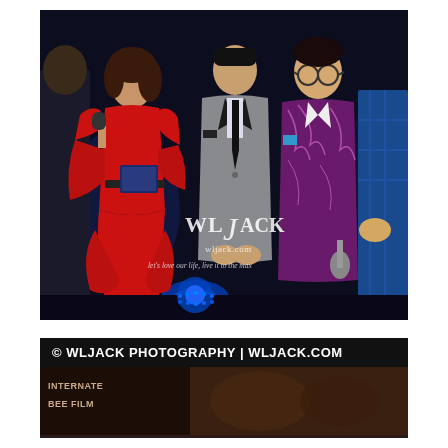[Figure (photo): Event photography showing four people on stage. A woman in a red off-shoulder dress holding a microphone and a booklet, a man in a grey suit with black lapels and tie, a man in a purple marbled blazer with glasses holding a microphone, and a partial figure in a blue plaid suit on the right. Dark stage background with blue lighting. WLJack photography watermark overlaid on the image with tagline 'let's love our life, live it to the max' and website wljack.com.]
[Figure (photo): Partial bottom banner showing '© WLJACK PHOTOGRAPHY | WLJACK.COM' header in white on black, with a dark brownish event photo beneath showing partially visible text including 'INTERNATE' and 'BEE FILM'.]